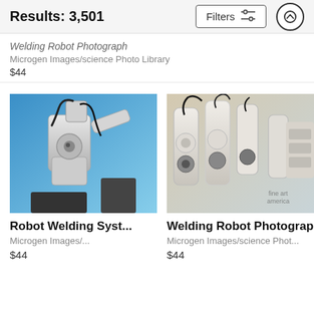Results: 3,501 | Filters | scroll-up button
Welding Robot Photograph
Microgen Images/science Photo Library
$44
[Figure (photo): Industrial robotic welding arm in a white/blue factory setting, close-up view]
Robot Welding Syst...
Microgen Images/...
$44
[Figure (photo): Row of white industrial robotic welding arms with cables, fine art america watermark]
Welding Robot Photograph
Microgen Images/science Phot...
$44